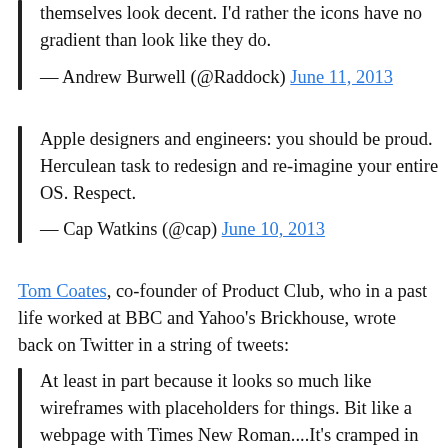themselves look decent. I'd rather the icons have no gradient than look like they do.
— Andrew Burwell (@Raddock) June 11, 2013
Apple designers and engineers: you should be proud. Herculean task to redesign and re-imagine your entire OS. Respect.
— Cap Watkins (@cap) June 10, 2013
Tom Coates, co-founder of Product Club, who in a past life worked at BBC and Yahoo's Brickhouse, wrote back on Twitter in a string of tweets:
At least in part because it looks so much like wireframes with placeholders for things. Bit like a webpage with Times New Roman....It's cramped in places, childish and garish in others, icons blend in with the background. And some of